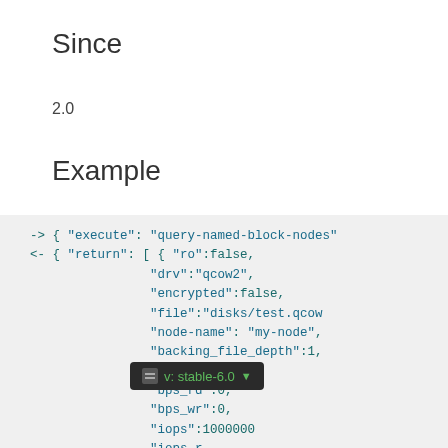Since
2.0
Example
-> { "execute": "query-named-block-nodes"
<- { "return": [ { "ro":false,
                    "drv":"qcow2",
                    "encrypted":false,
                    "file":"disks/test.qcow
                    "node-name": "my-node",
                    "backing_file_depth":1,
                    "bps":1000000,
                    "bps_rd":0,
                    "bps_wr":0,
                    "iops":1000000
                    "iops_r
                    "iops_wr":0,
                    "bps_max": 8000000,
                    "bps_rd_max": 0,